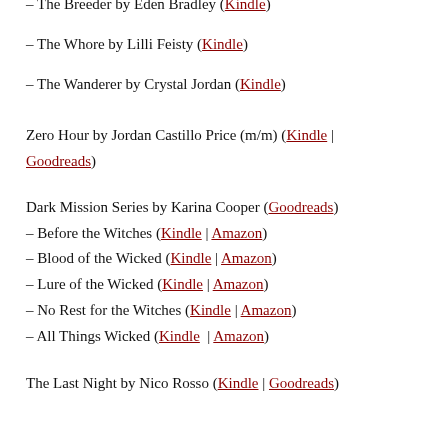– The Breeder by Eden Bradley (Kindle)
– The Whore by Lilli Feisty (Kindle)
– The Wanderer by Crystal Jordan (Kindle)
Zero Hour by Jordan Castillo Price (m/m) (Kindle | Goodreads)
Dark Mission Series by Karina Cooper (Goodreads)
– Before the Witches (Kindle | Amazon)
– Blood of the Wicked (Kindle | Amazon)
– Lure of the Wicked (Kindle | Amazon)
– No Rest for the Witches (Kindle | Amazon)
– All Things Wicked (Kindle | Amazon)
The Last Night by Nico Rosso (Kindle | Goodreads)